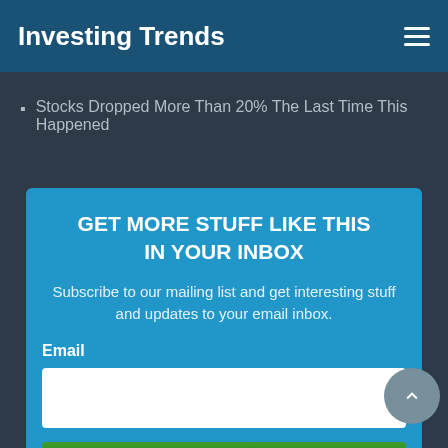Investing Trends
Stocks Dropped More Than 20% The Last Time This Happened
GET MORE STUFF LIKE THIS IN YOUR INBOX
Subscribe to our mailing list and get interesting stuff and updates to your email inbox.
Email
Subscribe